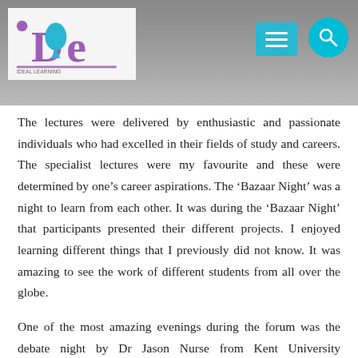[Figure (photo): Website header with iDeiL logo on white background, hamburger menu button (cyan/teal), and search button (cyan circle) over a grey photo background]
The lectures were delivered by enthusiastic and passionate individuals who had excelled in their fields of study and careers. The specialist lectures were my favourite and these were determined by one’s career aspirations. The ‘Bazaar Night’ was a night to learn from each other. It was during the ‘Bazaar Night’ that participants presented their different projects. I enjoyed learning different things that I previously did not know. It was amazing to see the work of different students from all over the globe.
One of the most amazing evenings during the forum was the debate night by Dr Jason Nurse from Kent University concerning the value of online information, the benefits of the internet, the challenge of misinformation and fake